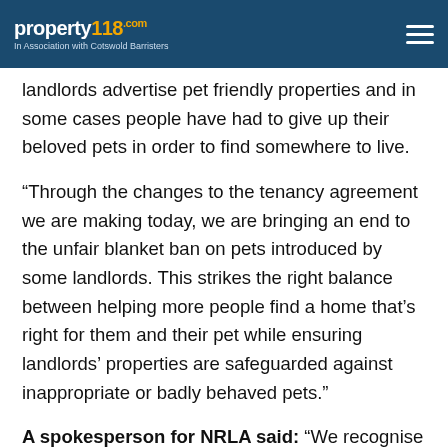property118.com — In Association with Cotswold Barristers
landlords advertise pet friendly properties and in some cases people have had to give up their beloved pets in order to find somewhere to live.
“Through the changes to the tenancy agreement we are making today, we are bringing an end to the unfair blanket ban on pets introduced by some landlords. This strikes the right balance between helping more people find a home that’s right for them and their pet while ensuring landlords’ properties are safeguarded against inappropriate or badly behaved pets.”
A spokesperson for NRLA said: “We recognise the importance of pets in providing companionship especially to those living on their own.